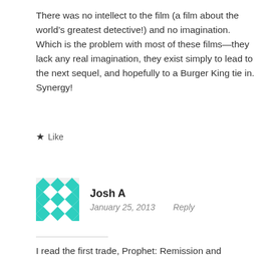There was no intellect to the film (a film about the world's greatest detective!) and no imagination. Which is the problem with most of these films—they lack any real imagination, they exist simply to lead to the next sequel, and hopefully to a Burger King tie in. Synergy!
★ Like
[Figure (illustration): Teal/turquoise geometric pattern avatar for user Josh A]
Josh A
January 25, 2013   Reply
I read the first trade, Prophet: Remission and